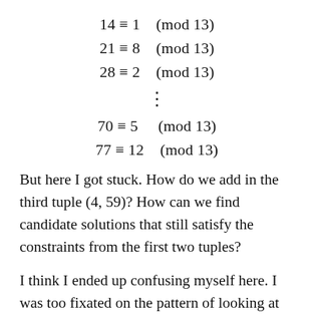But here I got stuck. How do we add in the third tuple (4, 59)? How can we find candidate solutions that still satisfy the constraints from the first two tuples?
I think I ended up confusing myself here. I was too fixated on the pattern of looking at multiples of the previous candidate